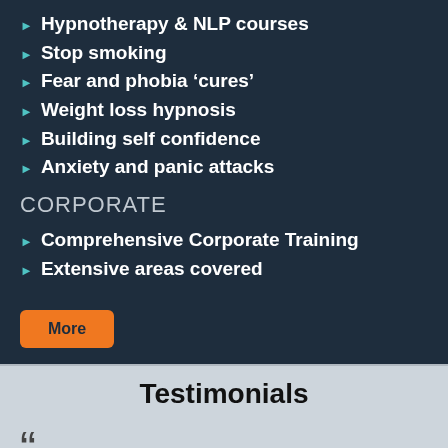Hypnotherapy & NLP courses
Stop smoking
Fear and phobia 'cures'
Weight loss hypnosis
Building self confidence
Anxiety and panic attacks
CORPORATE
Comprehensive Corporate Training
Extensive areas covered
Testimonials
“” I thoroughly enjoyed the course (Clinical hypnosis) and appreciated the way James explained everything so thoroughly. I enjoyed the practical